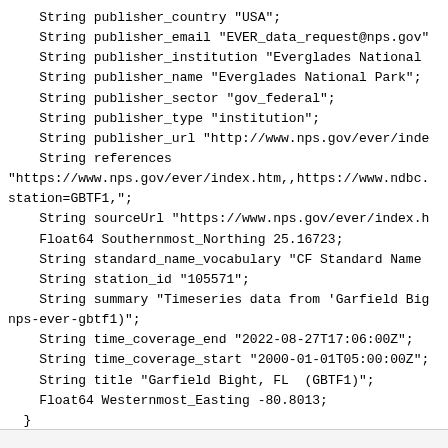String publisher_country "USA";
    String publisher_email "EVER_data_request@nps.gov"
    String publisher_institution "Everglades National
    String publisher_name "Everglades National Park";
    String publisher_sector "gov_federal";
    String publisher_type "institution";
    String publisher_url "http://www.nps.gov/ever/inde
    String references
"https://www.nps.gov/ever/index.htm,,https://www.ndbc.
station=GBTF1,";
    String sourceUrl "https://www.nps.gov/ever/index.h
    Float64 Southernmost_Northing 25.16723;
    String standard_name_vocabulary "CF Standard Name
    String station_id "105571";
    String summary "Timeseries data from 'Garfield Big
nps-ever-gbtf1)";
    String time_coverage_end "2022-08-27T17:06:00Z";
    String time_coverage_start "2000-01-01T05:00:00Z";
    String title "Garfield Bight, FL  (GBTF1)";
    Float64 Westernmost_Easting -80.8013;
  }
}